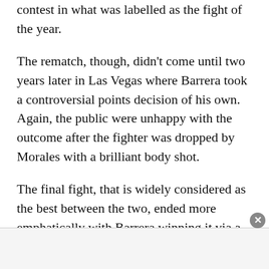aggressive of the two, ought to have won the contest in what was labelled as the fight of the year.
The rematch, though, didn't come until two years later in Las Vegas where Barrera took a controversial points decision of his own. Again, the public were unhappy with the outcome after the fighter was dropped by Morales with a brilliant body shot.
The final fight, that is widely considered as the best between the two, ended more emphatically with Barrera winning it via a unanimous points decision. Despite wobbling and narrowly avoiding